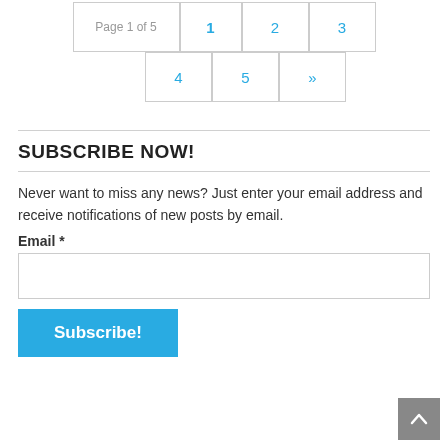Page 1 of 5  1  2  3  4  5  »
SUBSCRIBE NOW!
Never want to miss any news? Just enter your email address and receive notifications of new posts by email.
Email *
Subscribe!